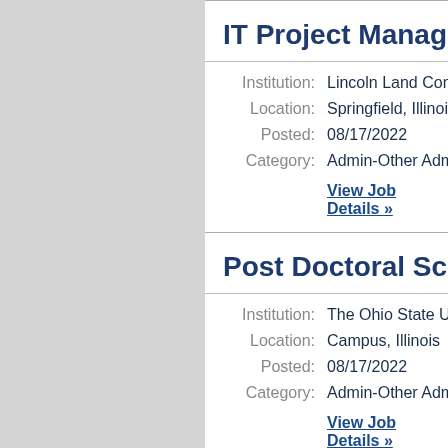IT Project Manager
Institution: Lincoln Land Community
Location: Springfield, Illinois
Posted: 08/17/2022
Category: Admin-Other Administra
View Job Details »
Post Doctoral Scholar
Institution: The Ohio State Unive
Location: Campus, Illinois
Posted: 08/17/2022
Category: Admin-Other Administra
View Job Details »